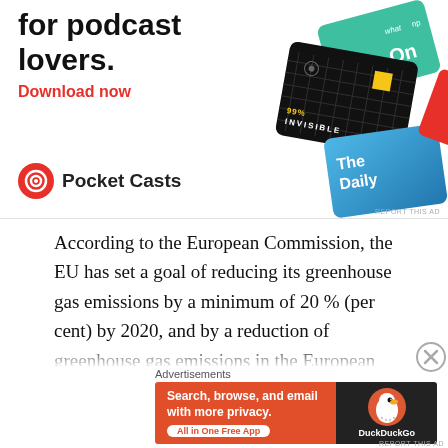[Figure (advertisement): Pocket Casts podcast app advertisement with title 'for podcast lovers.', 'Download now' in red, Pocket Casts logo, and podcast card graphics (99% Invisible, The Daily, On:)]
According to the European Commission, the EU has set a goal of reducing its greenhouse gas emissions by a minimum of 20 % (per cent) by 2020, and by a reduction of greenhouse gas emissions in the European Union by 80-95% (per cent) by 2050 in comparison to the situation in 1990. What are and gas pipelines from Russia to Germany
Advertisements
[Figure (advertisement): DuckDuckGo advertisement: 'Search, browse, and email with more privacy. All in One Free App' with DuckDuckGo logo on dark background]